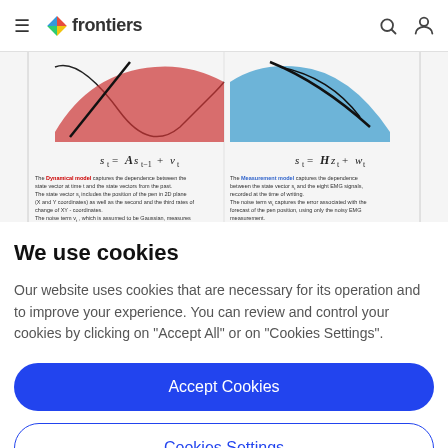frontiers
[Figure (illustration): Screenshot of a Frontiers scientific article showing two model diagrams: left panel shows 'Dynamical model' with equation s_t = As_{t-1} + v_t and red/black distribution graphic; right panel shows 'Measurement model' with equation s_t = Hz_t + w_t and blue/black distribution graphic, with descriptive text below each.]
We use cookies
Our website uses cookies that are necessary for its operation and to improve your experience. You can review and control your cookies by clicking on "Accept All" or on "Cookies Settings".
Accept Cookies
Cookies Settings